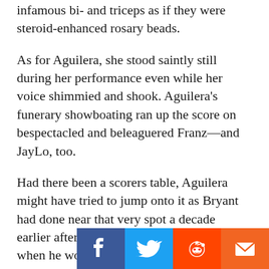infamous bi- and triceps as if they were steroid-enhanced rosary beads.
As for Aguilera, she stood saintly still during her performance even while her voice shimmied and shook. Aguilera's funerary showboating ran up the score on bespectacled and beleaguered Franz—and JayLo, too.
Had there been a scorers table, Aguilera might have tried to jump onto it as Bryant had done near that very spot a decade earlier after Game 7 of the NBA Finals when he won his fifth championship at Staples Center. Atop his spontaneous plinth, the demi-god extended his arms with basketball in one hand like Hercules's club, as if to gather within his mighty wingspan all the confetti and adoration raining down on him.
All Aguilera could do after her star turn was beam and bask. Emcee Jimmy Kimmel then mo e podium to remind her to stand down, making a lame